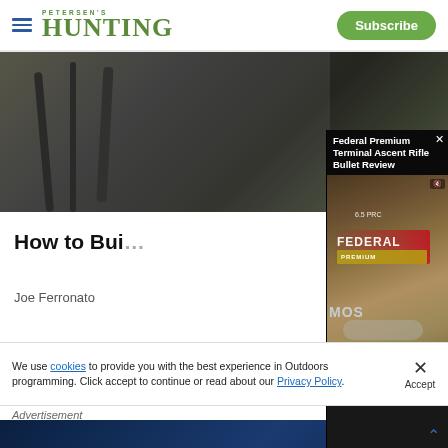PETERSEN'S HUNTING | Subscribe
[Figure (photo): Background outdoor photo showing dark equipment/scene]
How to Bui...
Joe Ferronato
[Figure (screenshot): Video player overlay showing 'Federal Premium Terminal Ascent Rifle Bullet Review' with video controls showing 00:00 / 03:09]
[Figure (photo): Food/meat photo strip]
We use cookies to provide you with the best experience in Outdoors programming. Click accept to continue or read about our Privacy Policy.
Advertisement
[Figure (photo): Old Trapper advertisement banner: FUEL FOR THE HUNT]